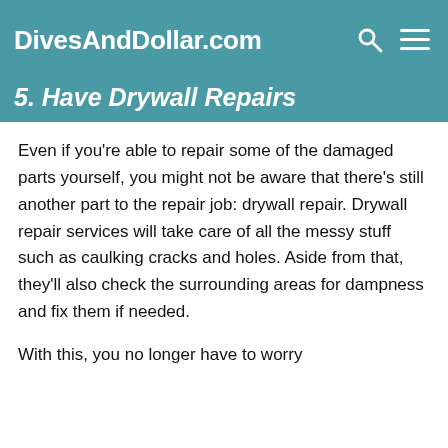DivesAndDollar.com
5. Have Drywall Repairs
Even if you're able to repair some of the damaged parts yourself, you might not be aware that there's still another part to the repair job: drywall repair. Drywall repair services will take care of all the messy stuff such as caulking cracks and holes. Aside from that, they'll also check the surrounding areas for dampness and fix them if needed.
With this, you no longer have to worry